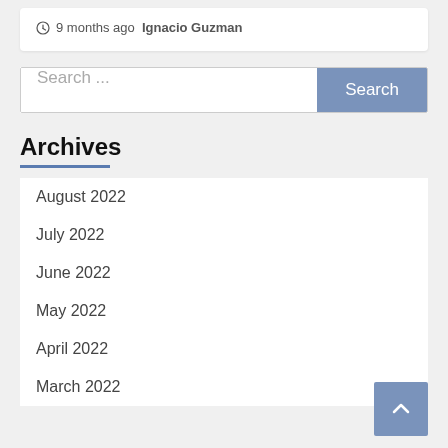9 months ago  Ignacio Guzman
Search ...
Archives
August 2022
July 2022
June 2022
May 2022
April 2022
March 2022